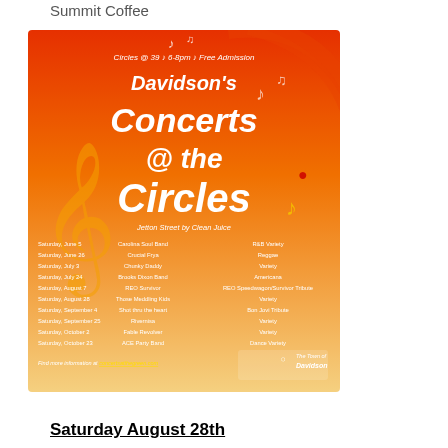Summit Coffee
[Figure (illustration): Davidson's Concerts @ the Circles event poster. Orange and red gradient background with musical notes. Text: Circles @ 39 · 6-8pm · Free Admission. Davidson's Concerts @ the Circles. Jetton Street by Clean Juice. Schedule listing dates, bands, and genres. Sponsored by Town of Davidson.]
Saturday August 28th